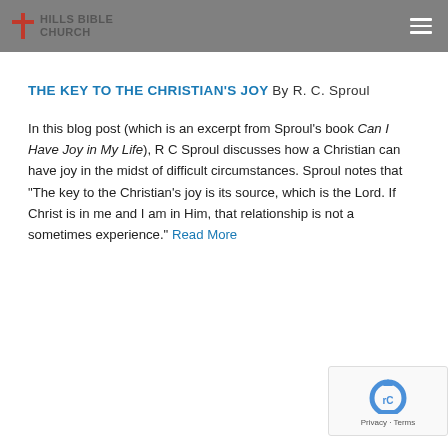HILLS BIBLE CHURCH
THE KEY TO THE CHRISTIAN'S JOY By R. C. Sproul
In this blog post (which is an excerpt from Sproul's book Can I Have Joy in My Life), R C Sproul discusses how a Christian can have joy in the midst of difficult circumstances. Sproul notes that "The key to the Christian's joy is its source, which is the Lord. If Christ is in me and I am in Him, that relationship is not a sometimes experience." Read More